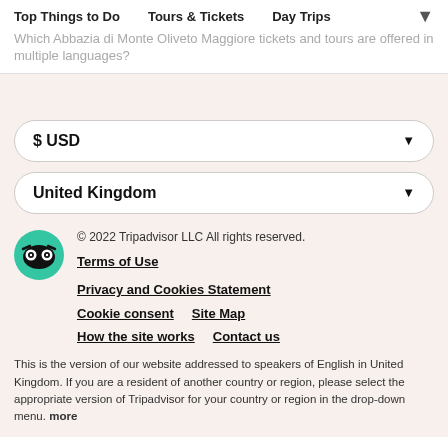Top Things to Do   Tours & Tickets   Day Trips
Which Abbazia di Monte Oliveto Maggiore tickets and tours are offered in multiple languages?
$ USD
United Kingdom
© 2022 Tripadvisor LLC All rights reserved.
Terms of Use
Privacy and Cookies Statement
Cookie consent   Site Map
How the site works   Contact us
This is the version of our website addressed to speakers of English in United Kingdom. If you are a resident of another country or region, please select the appropriate version of Tripadvisor for your country or region in the drop-down menu. more